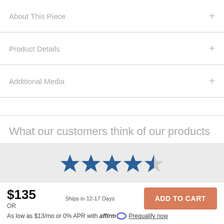About This Piece
Product Details
Additional Media
What our customers think of our products
[Figure (other): 4.5 out of 5 stars rating display]
$135 | Ships in 12-17 Days | ADD TO CART
OR
As low as $13/mo or 0% APR with affirm Prequalify now